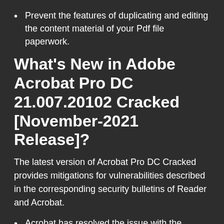Prevent the features of duplicating and editing the content material of your Pdf file paperwork.
What's New in Adobe Acrobat Pro DC 21.007.20102 Cracked [November-2021 Release]?
The latest version of Acrobat Pro DC Cracked provides mitigations for vulnerabilities described in the corresponding security bulletins of Reader and Acrobat.
Acrobat has resolved the issue with the Outline box is not visible in Custom Area selection on using Reading Order tool
Fixed a problem where adobe was Unable to type @ symbol in Add Signer dialog in Request Signature